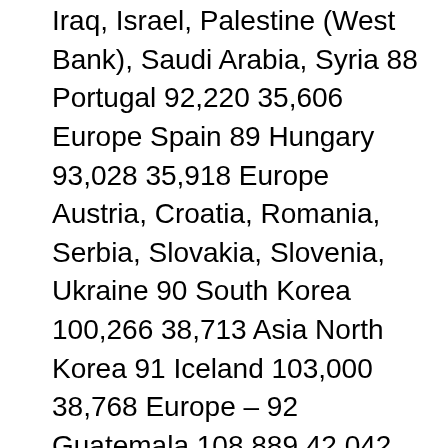Iraq, Israel, Palestine (West Bank), Saudi Arabia, Syria 88 Portugal 92,220 35,606 Europe Spain 89 Hungary 93,028 35,918 Europe Austria, Croatia, Romania, Serbia, Slovakia, Slovenia, Ukraine 90 South Korea 100,266 38,713 Asia North Korea 91 Iceland 103,000 38,768 Europe – 92 Guatemala 108,889 42,042 North America Belize, El Salvador, Honduras, Mexico 93 Cuba 109,880 42,425 North America – 94 Bulgaria 110,879 42,811 Europe Greece, North Macedonia, Romania, Serbia, Turkey 95 Liberia 111,369 43,000 Africa Cote d'Ivoire, Guinea, Sierra Leone 96 Honduras 112,090 43,278 North America El Salvador, Guatemala, Nicaragu 97 Benin 114,763 44,310 Africa Burkina Faso, Niger, Nigeria, Togo 98 Eritrea 117,600 45,406 Africa Djibouti,